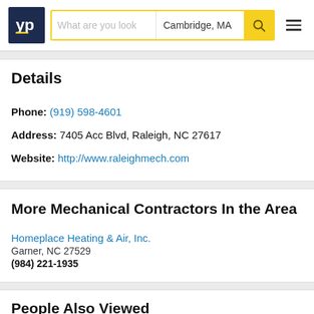YP | What are you look | Cambridge, MA
Details
Phone: (919) 598-4601
Address: 7405 Acc Blvd, Raleigh, NC 27617
Website: http://www.raleighmech.com
More Mechanical Contractors In the Area
Homeplace Heating & Air, Inc.
Garner, NC 27529
(984) 221-1935
People Also Viewed